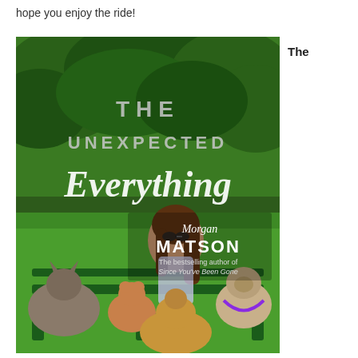hope you enjoy the ride!
[Figure (photo): Book cover of 'The Unexpected Everything' by Morgan Matson. Cover shows a young woman with long brown hair wearing sunglasses and a sparkly top, sitting on a green park bench surrounded by dogs (a husky mix, a Pomeranian, a golden retriever, and a pug). The background is a lush green park. Title text reads 'THE UNEXPECTED Everything' in large letters. Author name 'Morgan MATSON' is shown along with 'The bestselling author of Since You've Been Gone'.]
The